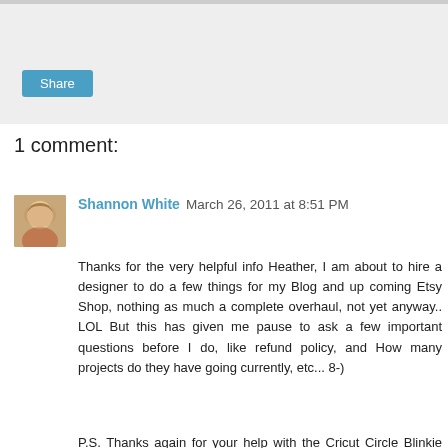[Figure (other): Share button area with light grey background and a blue Share button]
1 comment:
Shannon White  March 26, 2011 at 8:51 PM
Thanks for the very helpful info Heather, I am about to hire a designer to do a few things for my Blog and up coming Etsy Shop, nothing as much a complete overhaul, not yet anyway.. LOL But this has given me pause to ask a few important questions before I do, like refund policy, and How many projects do they have going currently, etc... 8-)

P.S. Thanks again for your help with the Cricut Circle Blinkie and for joining my blog too! Made my day.. 8-)

Reply